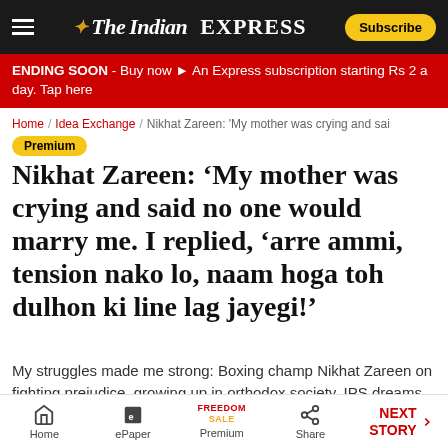The Indian Express — Subscribe
ENDING SOON - Buy now An Express subscription starting Rs 2 a day. Tap here
Home / Idea Exchange / Nikhat Zareen: 'My mother was crying and sai
Premium
Nikhat Zareen: ‘My mother was crying and said no one would marry me. I replied, ‘arre ammi, tension nako lo, naam hoga toh dulhon ki line lag jayegi!’
My struggles made me strong: Boxing champ Nikhat Zareen on fighting prejudice, growing up in orthodox society, IPS dreams and Hyderabad’s sporting secret.
Home | ePaper | Premium | Share | NEXT STORY